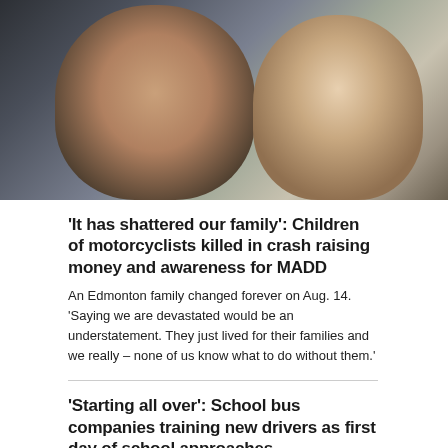[Figure (photo): Close-up photo of a man and woman smiling together outdoors near a wooden fence]
'It has shattered our family': Children of motorcyclists killed in crash raising money and awareness for MADD
An Edmonton family changed forever on Aug. 14. 'Saying we are devastated would be an understatement. They just lived for their families and we really – none of us know what to do without them.'
'Starting all over': School bus companies training new drivers as first day of school approaches
'Happy wife, happy life': Decade-old stereotype